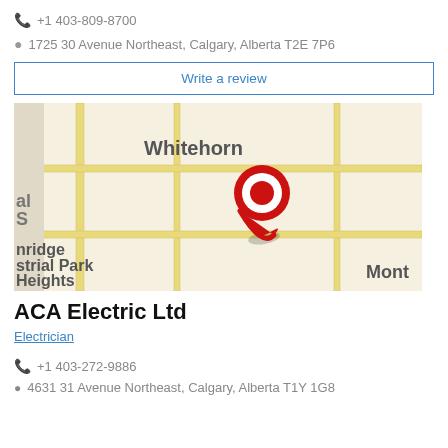+1 403-809-8700
1725 30 Avenue Northeast, Calgary, Alberta T2E 7P6
Write a review
[Figure (map): Street map showing location in northeast Calgary near Whitehorn, with a red map pin marker. Neighborhood labels visible: Whitehorn, nridge, strial Park, Heights, Mont.]
ACA Electric Ltd
Electrician
+1 403-272-9886
4631 31 Avenue Northeast, Calgary, Alberta T1Y 1G8